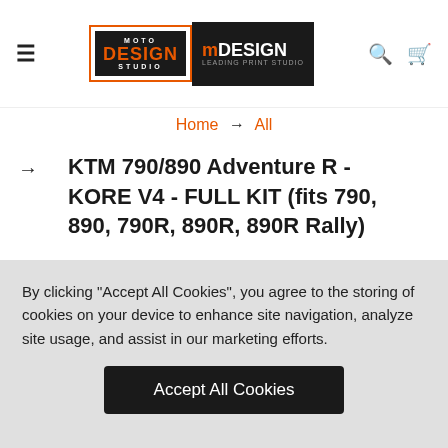Moto Design Studio / mDESIGN — navigation header with hamburger menu, logo, search and cart icons
Home → All
KTM 790/890 Adventure R - KORE V4 - FULL KIT (fits 790, 890, 790R, 890R, 890R Rally)
By clicking "Accept All Cookies", you agree to the storing of cookies on your device to enhance site navigation, analyze site usage, and assist in our marketing efforts.
Accept All Cookies